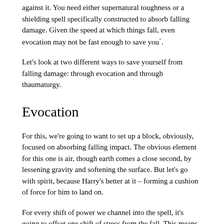against it. You need either supernatural toughness or a shielding spell specifically constructed to absorb falling damage. Given the speed at which things fall, even evocation may not be fast enough to save you*.
Let's look at two different ways to save yourself from falling damage: through evocation and through thaumaturgy.
Evocation
For this, we're going to want to set up a block, obviously, focused on absorbing falling impact. The obvious element for this one is air, though earth comes a close second, by lessening gravity and softening the surface. But let's go with spirit, because Harry's better at it – forming a cushion of force for him to land on.
For every shift of power we channel into the spell, it's going to offset one shift of stress from the fall. This means that the amount of power we want is going to vary depending on how far we're falling. For simplicity's sake, let's go with 5 shifts, so that we take no damage from a 10-foot fall, and only 5 shifts from a 20-foot fall; enough to be useful, but still practical to deal with in an evocation situation.